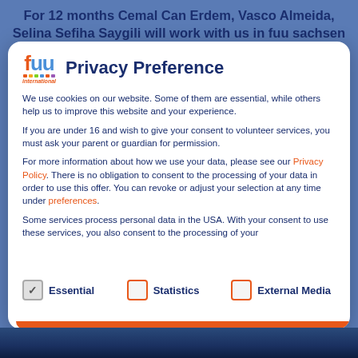For 12 months Cemal Can Erdem, Vasco Almeida, Selina Sefiha Saygili will work with us in fuu sachsen
Privacy Preference
We use cookies on our website. Some of them are essential, while others help us to improve this website and your experience.
If you are under 16 and wish to give your consent to volunteer services, you must ask your parent or guardian for permission.
For more information about how we use your data, please see our Privacy Policy. There is no obligation to consent to the processing of your data in order to use this offer. You can revoke or adjust your selection at any time under preferences.
Some services process personal data in the USA. With your consent to use these services, you also consent to the processing of your
Essential
Statistics
External Media